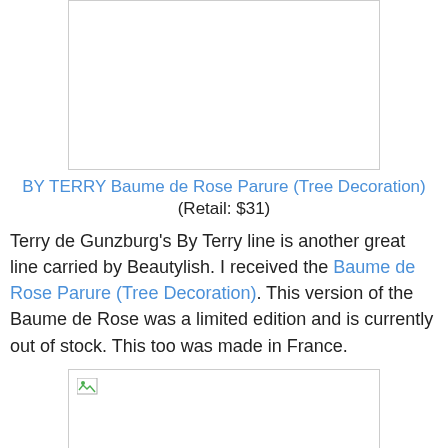[Figure (photo): Top product image placeholder with border, white background]
BY TERRY Baume de Rose Parure (Tree Decoration) (Retail: $31)
Terry de Gunzburg's By Terry line is another great line carried by Beautylish. I received the Baume de Rose Parure (Tree Decoration). This version of the Baume de Rose was a limited edition and is currently out of stock. This too was made in France.
[Figure (photo): Bottom product image placeholder with broken image icon and border]